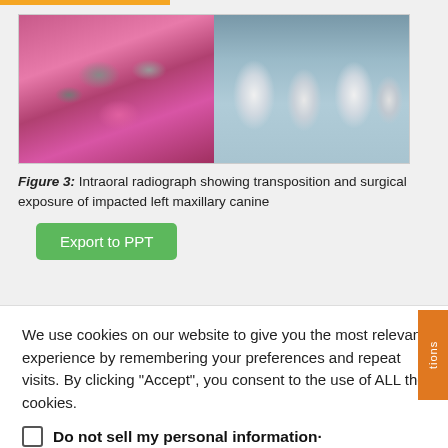[Figure (photo): Two dental images side by side: left image shows intraoral photograph of teeth with metal braces and pink gum tissue; right image shows an intraoral radiograph (X-ray) of teeth.]
Figure 3: Intraoral radiograph showing transposition and surgical exposure of impacted left maxillary canine
Export to PPT
We use cookies on our website to give you the most relevant experience by remembering your preferences and repeat visits. By clicking "Accept", you consent to the use of ALL the cookies.
Do not sell my personal information·
Cookie Settings
Accept